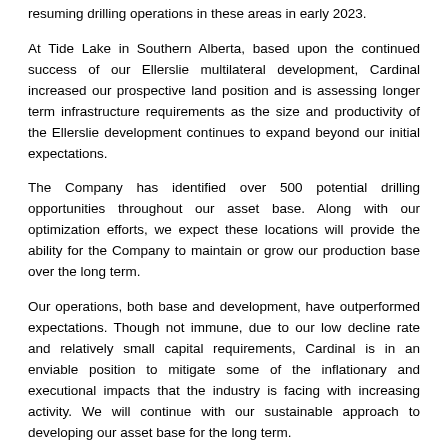resuming drilling operations in these areas in early 2023.
At Tide Lake in Southern Alberta, based upon the continued success of our Ellerslie multilateral development, Cardinal increased our prospective land position and is assessing longer term infrastructure requirements as the size and productivity of the Ellerslie development continues to expand beyond our initial expectations.
The Company has identified over 500 potential drilling opportunities throughout our asset base. Along with our optimization efforts, we expect these locations will provide the ability for the Company to maintain or grow our production base over the long term.
Our operations, both base and development, have outperformed expectations. Though not immune, due to our low decline rate and relatively small capital requirements, Cardinal is in an enviable position to mitigate some of the inflationary and executional impacts that the industry is facing with increasing activity. We will continue with our sustainable approach to developing our asset base for the long term.
ENVIRONMENTAL, SOCIAL AND GOVERNANCE (“ESG”)